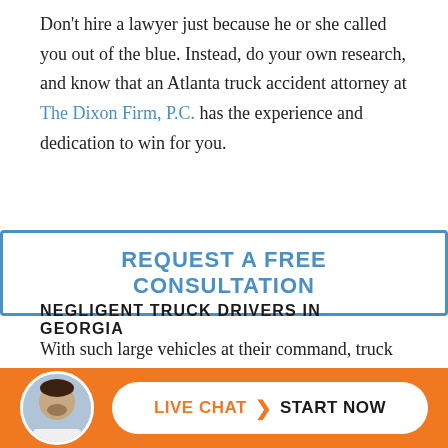Don't hire a lawyer just because he or she called you out of the blue. Instead, do your own research, and know that an Atlanta truck accident attorney at The Dixon Firm, P.C. has the experience and dedication to win for you.
REQUEST A FREE CONSULTATION
NEGLIGENT TRUCK DRIVERS IN GEORGIA
With such large vehicles at their command, truck drivers have a responsibility and a duty of care to the...
[Figure (infographic): Live chat bar with orange background, circular avatar photo of a man, and a white pill-shaped button reading LIVE CHAT > START NOW]